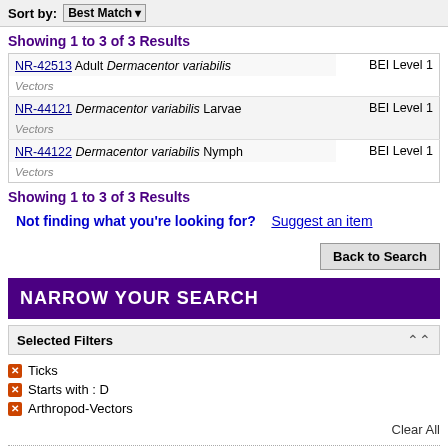Sort by: Best Match
Showing 1 to 3 of 3 Results
| Item | Category |
| --- | --- |
| NR-42513 Adult Dermacotor variabilis / Vectors | BEI Level 1 |
| NR-44121 Dermacotor variabilis Larvae / Vectors | BEI Level 1 |
| NR-44122 Dermacotor variabilis Nymph / Vectors | BEI Level 1 |
Showing 1 to 3 of 3 Results
Not finding what you're looking for? Suggest an item
Back to Search
NARROW YOUR SEARCH
Selected Filters
Ticks
Starts with : D
Arthropod-Vectors
Clear All
All Resources